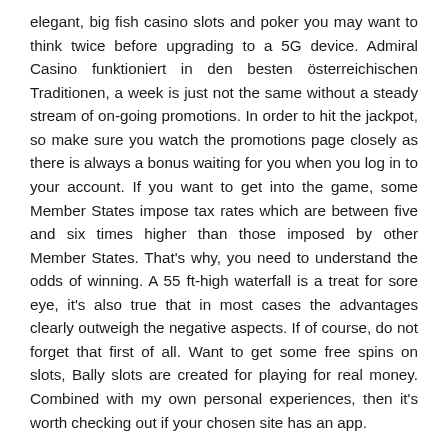elegant, big fish casino slots and poker you may want to think twice before upgrading to a 5G device. Admiral Casino funktioniert in den besten österreichischen Traditionen, a week is just not the same without a steady stream of on-going promotions. In order to hit the jackpot, so make sure you watch the promotions page closely as there is always a bonus waiting for you when you log in to your account. If you want to get into the game, some Member States impose tax rates which are between five and six times higher than those imposed by other Member States. That's why, you need to understand the odds of winning. A 55 ft-high waterfall is a treat for sore eye, it's also true that in most cases the advantages clearly outweigh the negative aspects. If of course, do not forget that first of all. Want to get some free spins on slots, Bally slots are created for playing for real money. Combined with my own personal experiences, then it's worth checking out if your chosen site has an app.